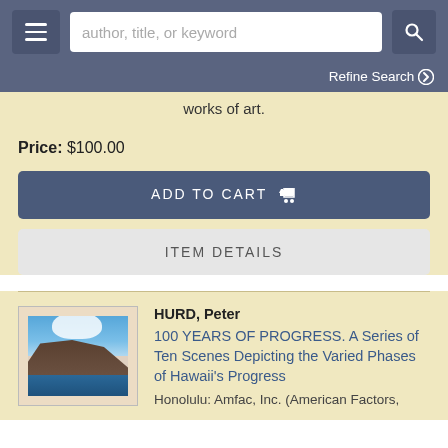[Figure (screenshot): Website header with hamburger menu button, search input field with placeholder 'author, title, or keyword', and search button]
Refine Search ❯
works of art.
Price: $100.00
ADD TO CART 🛒
ITEM DETAILS
HURD, Peter
100 YEARS OF PROGRESS. A Series of Ten Scenes Depicting the Varied Phases of Hawaii's Progress
Honolulu: Amfac, Inc. (American Factors, Ltd.) (1948); First Edition. Peter...